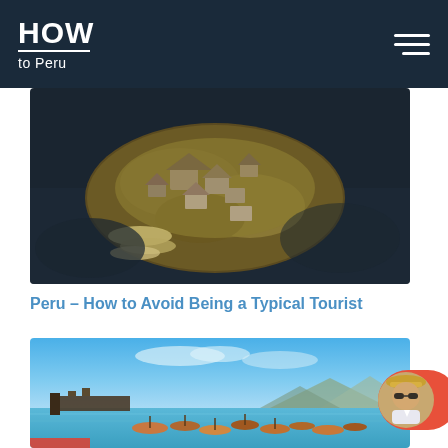HOW to Peru
[Figure (photo): Aerial view of floating reed islands on Lake Titicaca with thatched huts and small boats moored alongside]
Peru – How to Avoid Being a Typical Tourist
[Figure (photo): Coastal Peruvian harbor with fishing boats in turquoise water, pier structure, mountains in background, blue sky]
[Figure (photo): Circular avatar of a person wearing a hat and sunglasses, on a red/coral background badge]